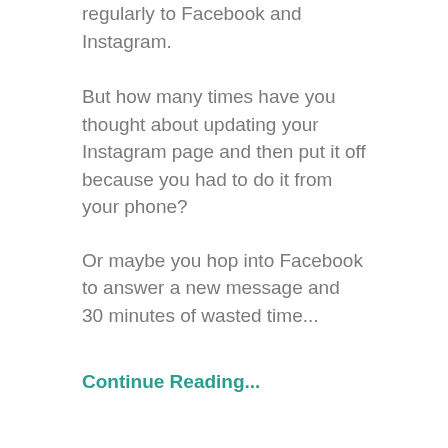regularly to Facebook and Instagram.
But how many times have you thought about updating your Instagram page and then put it off because you had to do it from your phone?
Or maybe you hop into Facebook to answer a new message and 30 minutes of wasted time...
Continue Reading...
Want to grow your business 30% faster?
May 23, 2019